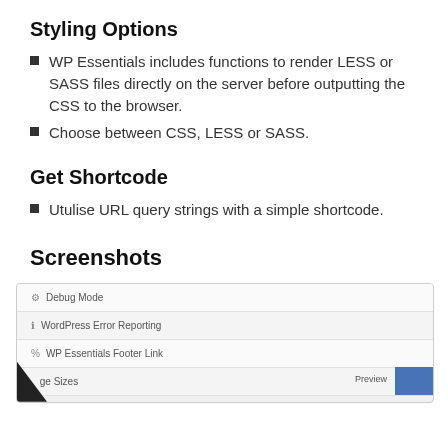Styling Options
WP Essentials includes functions to render LESS or SASS files directly on the server before outputting the CSS to the browser.
Choose between CSS, LESS or SASS.
Get Shortcode
Utulise URL query strings with a simple shortcode.
Screenshots
[Figure (screenshot): Screenshot of WP Essentials settings panel showing Debug Mode, WordPress Error Reporting, WP Essentials Footer Link, and Image Sizes rows, with a Preview thumbnail visible in the bottom right.]